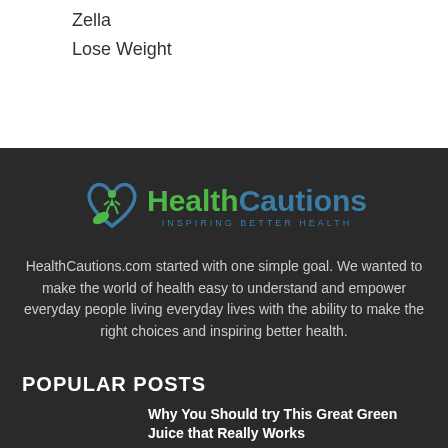Zella
Lose Weight
[Figure (logo): HealthCautions logo with green heart/leaf icon and text 'HealthCautions' in green and blue, with tagline 'INSPIRING BETTER HEALTH']
HealthCautions.com started with one simple goal. We wanted to make the world of health easy to understand and empower everyday people living everyday lives with the ability to make the right choices and inspiring better health.
POPULAR POSTS
Why You Should try This Great Green Juice that Really Works